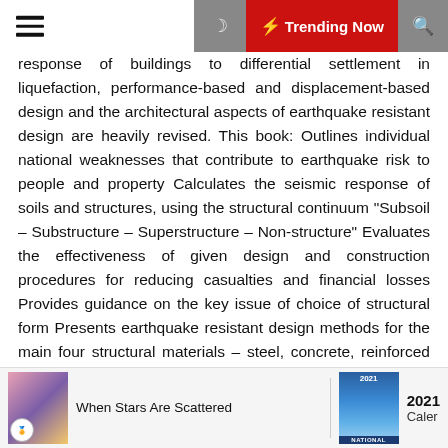Trending Now
response of buildings to differential settlement in liquefaction, performance-based and displacement-based design and the architectural aspects of earthquake resistant design are heavily revised. This book: Outlines individual national weaknesses that contribute to earthquake risk to people and property Calculates the seismic response of soils and structures, using the structural continuum “Subsoil – Substructure – Superstructure – Non-structure” Evaluates the effectiveness of given design and construction procedures for reducing casualties and financial losses Provides guidance on the key issue of choice of structural form Presents earthquake resistant design methods for the main four structural materials – steel, concrete, reinforced masonry and timber – as well as for services equipment, plant and non-structural architectural components Contains a chapter devoted to problems involved in improving (retrofitting) the existing built environment This book is an invaluable reference and guiding tool to practising civil and structural engineers and architects,
[Figure (other): Book cover thumbnail: When Stars Are Scattered]
When Stars Are Scattered
[Figure (other): Book cover thumbnail: 2021 National calendar]
2021 Caler